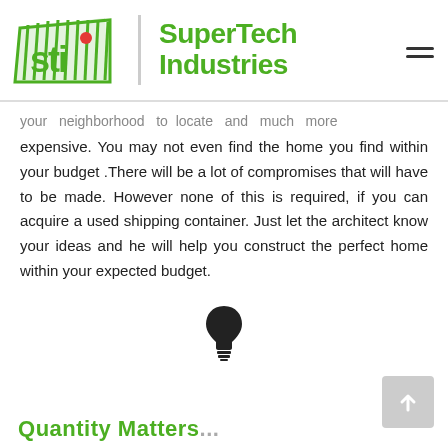[Figure (logo): SuperTech Industries logo with green container icon and red dot, followed by vertical divider and green 'SuperTech Industries' text, with hamburger menu icon top right]
your neighborhood to locate and much more expensive. You may not even find the home you find within your budget .There will be a lot of compromises that will have to be made. However none of this is required, if you can acquire a used shipping container. Just let the architect know your ideas and he will help you construct the perfect home within your expected budget.
[Figure (illustration): Black lightbulb icon centered on page]
Q...ti...lliti...